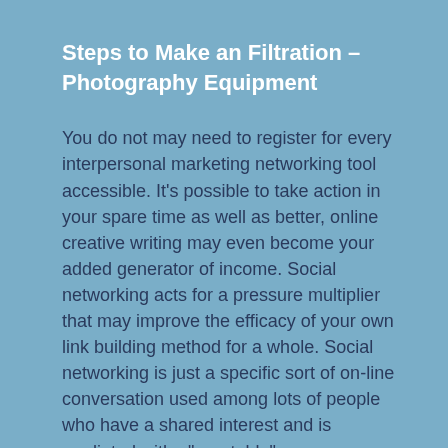Steps to Make an Filtration – Photography Equipment
You do not may need to register for every interpersonal marketing networking tool accessible. It's possible to take action in your spare time as well as better, online creative writing may even become your added generator of income. Social networking acts for a pressure multiplier that may improve the efficacy of your own link building method for a whole. Social networking is just a specific sort of on-line conversation used among lots of people who have a shared interest and is mediated with a"reputable" resource. Everybody understands the strength of societal press. It actually is like any other media like newspaper, stereo and television but it surely is far a lot more than merely about sharing info and ideas. Mass media is only a doubleedged sword, meaning there are negative and positive influences of press. For social networking, the transport station is web – centered (via a social networking web site ) and the sure resources have a tendency to be students and peers, instead of adult authority